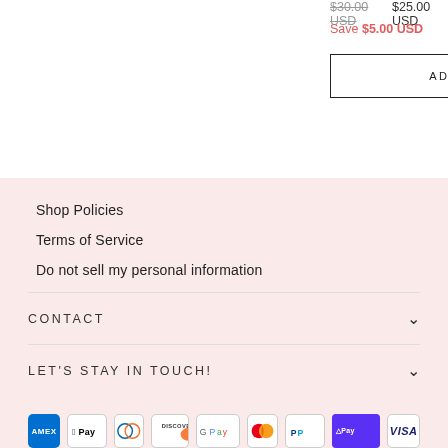$30.00 USD  $25.00 USD
Save $5.00 USD
ADD TO CART
Cover
★★★★☆ 1 re...
$3.00 USD
ADD TO CA...
Shop Policies
Terms of Service
Do not sell my personal information
CONTACT
LET'S STAY IN TOUCH!
[Figure (other): Payment method icons: American Express, Apple Pay, Diners Club, Discover, Google Pay, Mastercard, PayPal, Shop Pay, Visa]